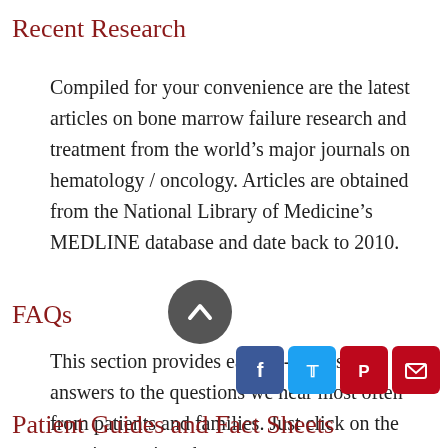Recent Research
Compiled for your convenience are the latest articles on bone marrow failure research and treatment from the world’s major journals on hematology / oncology. Articles are obtained from the National Library of Medicine’s MEDLINE database and date back to 2010.
FAQs
This section provides easy-to-understand answers to the questions we hear most often from patients and families. Just click on the question to view the answer.
Patient Guides and Fact Sheets